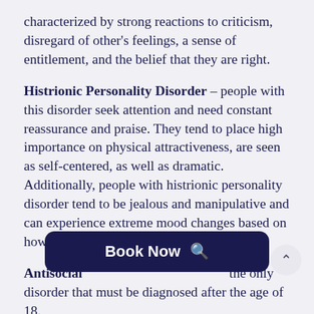characterized by strong reactions to criticism, disregard of other's feelings, a sense of entitlement, and the belief that they are right.
Histrionic Personality Disorder – people with this disorder seek attention and need constant reassurance and praise. They tend to place high importance on physical attractiveness, are seen as self-centered, as well as dramatic. Additionally, people with histrionic personality disorder tend to be jealous and manipulative and can experience extreme mood changes based on how people react to them.
Antisocial [Book Now] the only disorder that must be diagnosed after the age of 18.